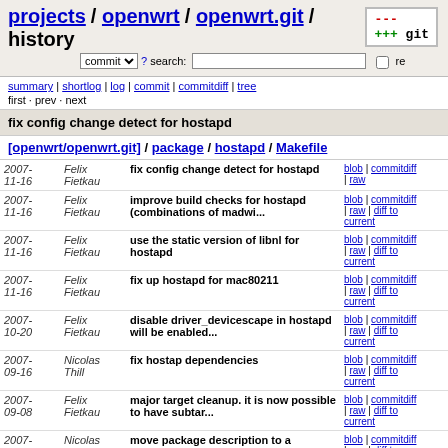projects / openwrt / openwrt.git / history
commit search: re
summary | shortlog | log | commit | commitdiff | tree
first · prev · next
fix config change detect for hostapd
[openwrt/openwrt.git] / package / hostapd / Makefile
| Date | Author | Commit message | Links |
| --- | --- | --- | --- |
| 2007-11-16 | Felix Fietkau | fix config change detect for hostapd | blob | commitdiff | raw |
| 2007-11-16 | Felix Fietkau | improve build checks for hostapd (combinations of madwi... | blob | commitdiff | raw | diff to current |
| 2007-11-16 | Felix Fietkau | use the static version of libnl for hostapd | blob | commitdiff | raw | diff to current |
| 2007-11-16 | Felix Fietkau | fix up hostapd for mac80211 | blob | commitdiff | raw | diff to current |
| 2007-10-20 | Felix Fietkau | disable driver_devicescape in hostapd will be enabled... | blob | commitdiff | raw | diff to current |
| 2007-09-16 | Nicolas Thill | fix hostap dependencies | blob | commitdiff | raw | diff to current |
| 2007-09-08 | Felix Fietkau | major target cleanup. it is now possible to have subtar... | blob | commitdiff | raw | diff to current |
| 2007-09-07 | Nicolas Thill | move package description to a separate definition | blob | commitdiff | raw | diff to |